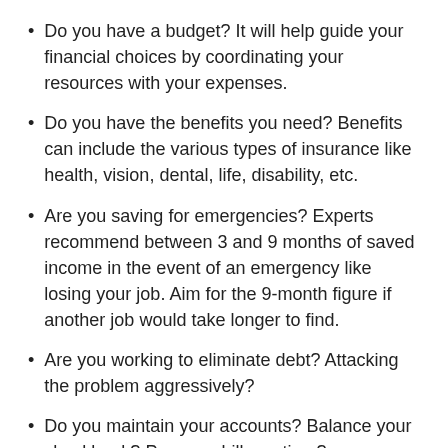Do you have a budget? It will help guide your financial choices by coordinating your resources with your expenses.
Do you have the benefits you need? Benefits can include the various types of insurance like health, vision, dental, life, disability, etc.
Are you saving for emergencies? Experts recommend between 3 and 9 months of saved income in the event of an emergency like losing your job. Aim for the 9-month figure if another job would take longer to find.
Are you working to eliminate debt? Attacking the problem aggressively?
Do you maintain your accounts? Balance your checkbook? Pay your bills on time?